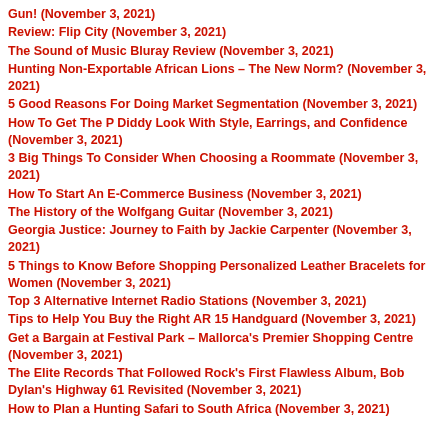Gun! (November 3, 2021)
Review: Flip City (November 3, 2021)
The Sound of Music Bluray Review (November 3, 2021)
Hunting Non-Exportable African Lions – The New Norm? (November 3, 2021)
5 Good Reasons For Doing Market Segmentation (November 3, 2021)
How To Get The P Diddy Look With Style, Earrings, and Confidence (November 3, 2021)
3 Big Things To Consider When Choosing a Roommate (November 3, 2021)
How To Start An E-Commerce Business (November 3, 2021)
The History of the Wolfgang Guitar (November 3, 2021)
Georgia Justice: Journey to Faith by Jackie Carpenter (November 3, 2021)
5 Things to Know Before Shopping Personalized Leather Bracelets for Women (November 3, 2021)
Top 3 Alternative Internet Radio Stations (November 3, 2021)
Tips to Help You Buy the Right AR 15 Handguard (November 3, 2021)
Get a Bargain at Festival Park – Mallorca's Premier Shopping Centre (November 3, 2021)
The Elite Records That Followed Rock's First Flawless Album, Bob Dylan's Highway 61 Revisited (November 3, 2021)
How to Plan a Hunting Safari to South Africa (November 3, 2021)